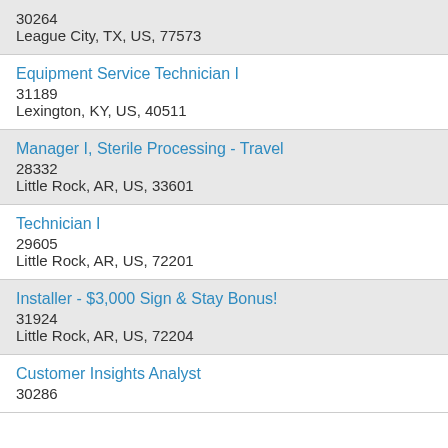30264
League City, TX, US, 77573
Equipment Service Technician I
31189
Lexington, KY, US, 40511
Manager I, Sterile Processing - Travel
28332
Little Rock, AR, US, 33601
Technician I
29605
Little Rock, AR, US, 72201
Installer - $3,000 Sign & Stay Bonus!
31924
Little Rock, AR, US, 72204
Customer Insights Analyst
30286